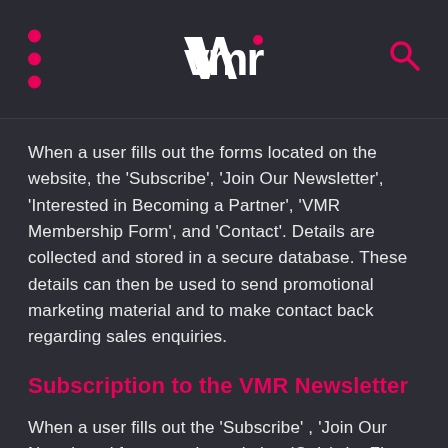VMR logo header with menu dots and search icon
When a user fills out the forms located on the website, the 'Subscribe', 'Join Our Newsletter', 'Interested in Becoming a Partner', 'VMR Membership Form', and 'Contact'. Details are collected and stored in a secure database. These details can then be used to send promotional marketing material and to make contact back regarding sales enquiries.
Subscription to the VMR Newsletter
When a user fills out the 'Subscribe' , 'Join Our Newsletter' forms on the website. (Only) the First Name, Last Name and Email Address details are